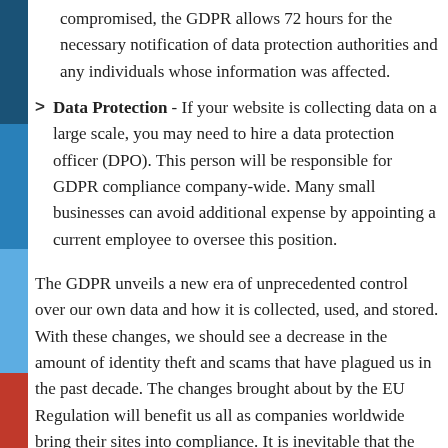compromised, the GDPR allows 72 hours for the necessary notification of data protection authorities and any individuals whose information was affected.
Data Protection - If your website is collecting data on a large scale, you may need to hire a data protection officer (DPO). This person will be responsible for GDPR compliance company-wide. Many small businesses can avoid additional expense by appointing a current employee to oversee this position.
The GDPR unveils a new era of unprecedented control over our own data and how it is collected, used, and stored. With these changes, we should see a decrease in the amount of identity theft and scams that have plagued us in the past decade. The changes brought about by the EU Regulation will benefit us all as companies worldwide bring their sites into compliance. It is inevitable that the standards of the GDPR will become a brief future legislation worldwide.